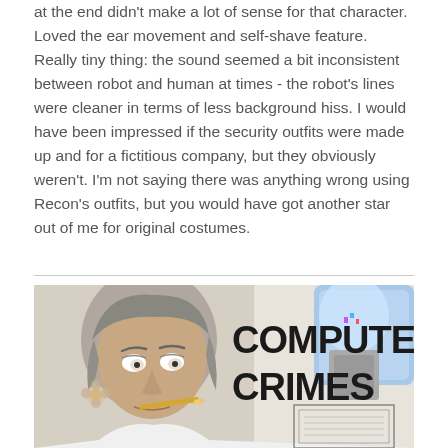at the end didn't make a lot of sense for that character. Loved the ear movement and self-shave feature. Really tiny thing: the sound seemed a bit inconsistent between robot and human at times - the robot's lines were cleaner in terms of less background hiss. I would have been impressed if the security outfits were made up and for a fictitious company, but they obviously weren't. I'm not saying there was anything wrong using Recon's outfits, but you would have got another star out of me for original costumes.
[Figure (illustration): Comic-style illustration showing a cartoon woman with gray hair holding a pencil in her mouth, next to bold text reading 'COMPUTER CRIMES' with a water cooler in the background]